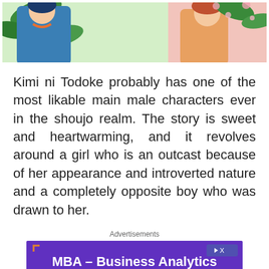[Figure (illustration): Anime illustration showing two characters: one in a blue/teal outfit on the left and a female character in warm colors on the right, with green leaves and pink flowers in the background.]
Kimi ni Todoke probably has one of the most likable main male characters ever in the shoujo realm. The story is sweet and heartwarming, and it revolves around a girl who is an outcast because of her appearance and introverted nature and a completely opposite boy who was drawn to her.
Advertisements
[Figure (screenshot): Advertisement banner for MBA – Business Analytics with text 'HIGH DEMAND SKILLS ON DEMAND' on a purple background with people in the lower portion.]